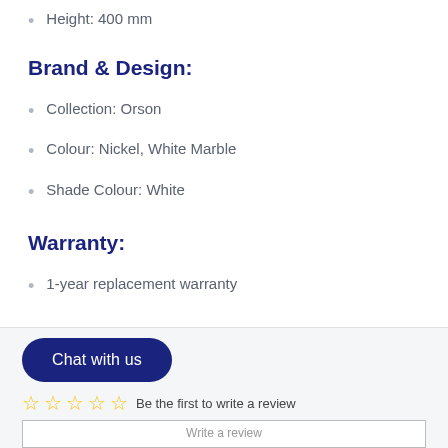Height: 400 mm
Brand & Design:
Collection: Orson
Colour: Nickel, White Marble
Shade Colour: White
Warranty:
1-year replacement warranty
Chat with us
Be the first to write a review
Write a review